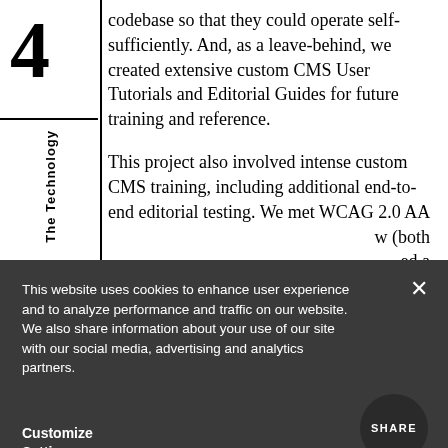4
The Technology
codebase so that they could operate self-sufficiently. And, as a leave-behind, we created extensive custom CMS User Tutorials and Editorial Guides for future training and reference.
This project also involved intense custom CMS training, including additional end-to-end editorial testing. We met WCAG 2.0 AA … w (both … ed a
This website uses cookies to enhance user experience and to analyze performance and traffic on our website. We also share information about your use of our site with our social media, advertising and analytics partners.
Customize Settings
SHARE